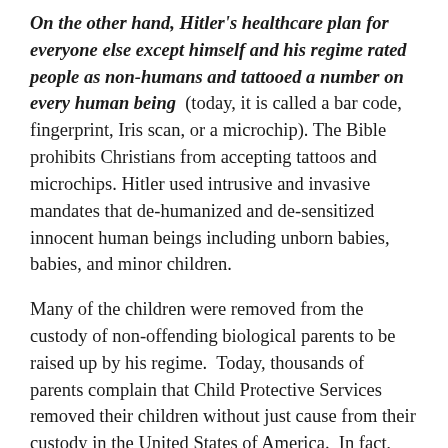On the other hand, Hitler's healthcare plan for everyone else except himself and his regime rated people as non-humans and tattooed a number on every human being (today, it is called a bar code, fingerprint, Iris scan, or a microchip). The Bible prohibits Christians from accepting tattoos and microchips. Hitler used intrusive and invasive mandates that de-humanized and de-sensitized innocent human beings including unborn babies, babies, and minor children.
Many of the children were removed from the custody of non-offending biological parents to be raised up by his regime.  Today, thousands of parents complain that Child Protective Services removed their children without just cause from their custody in the United States of America.  In fact, Senator Nancy Schaffer was murdered under suspicious circumstances, after presenting a scathing report on